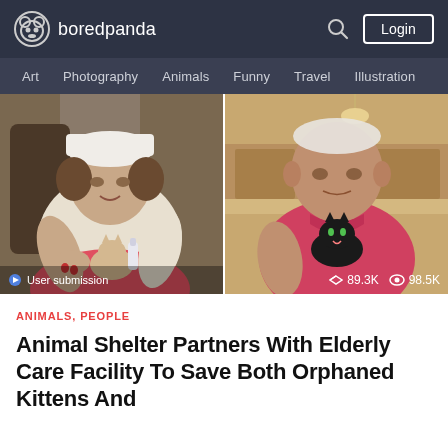boredpanda
Art  Photography  Animals  Funny  Travel  Illustration
[Figure (photo): Two side-by-side photos: left shows an elderly woman in a white hat and white sweater bottle-feeding a small kitten; right shows an elderly man in a pink shirt holding a small black kitten. Overlay text: 'User submission', '89.3K shares', '98.5K views'.]
ANIMALS, PEOPLE
Animal Shelter Partners With Elderly Care Facility To Save Both Orphaned Kittens And